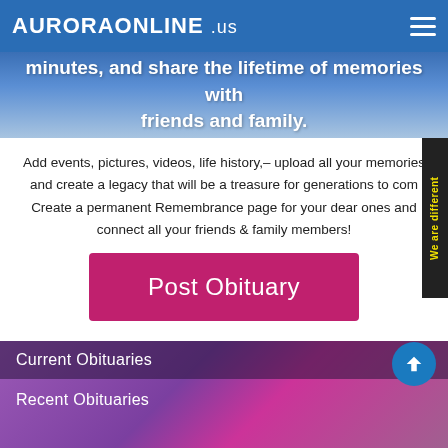AURORAONLINE .us
minutes, and share the lifetime of memories with friends and family.
Add events, pictures, videos, life history,– upload all your memories and create a legacy that will be a treasure for generations to come. Create a permanent Remembrance page for your dear ones and connect all your friends & family members!
We are different
Post Obituary
Current Obituaries
Recent Obituaries